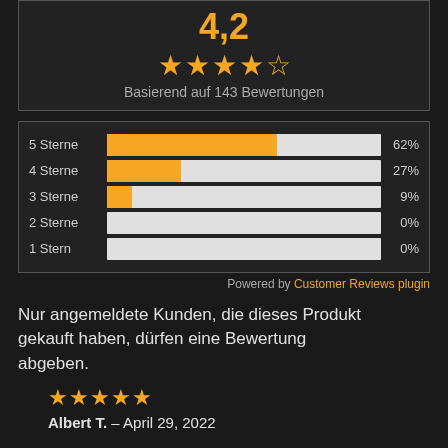[Figure (other): Rating: 4.2 out of 5 stars based on 143 reviews, with star display]
[Figure (bar-chart): Rating distribution]
Powered by Customer Reviews plugin
Nur angemeldete Kunden, die dieses Produkt gekauft haben, dürfen eine Bewertung abgeben.
Albert T. – April 29, 2022